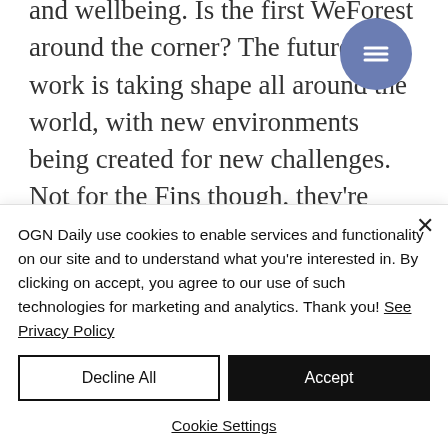and wellbeing. Is the first WeForest around the corner? The future of work is taking shape all around the world, with new environments being created for new challenges. Not for the Fins though, they're getting rid of walls with these stunning, free to use, Viita workstations that are placed in, you guessed it, the great outdoors. More about
OGN Daily use cookies to enable services and functionality on our site and to understand what you're interested in. By clicking on accept, you agree to our use of such technologies for marketing and analytics. Thank you! See Privacy Policy
Decline All
Accept
Cookie Settings